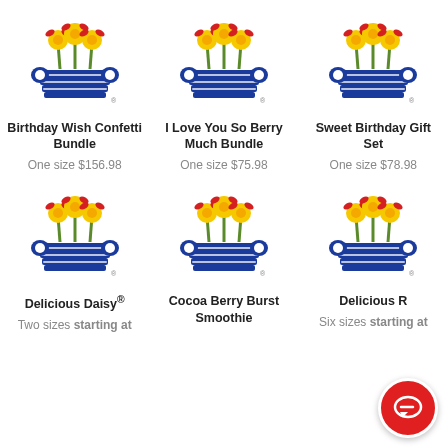[Figure (logo): Flower basket logo for Birthday Wish Confetti Bundle]
Birthday Wish Confetti Bundle
One size $156.98
[Figure (logo): Flower basket logo for I Love You So Berry Much Bundle]
I Love You So Berry Much Bundle
One size $75.98
[Figure (logo): Flower basket logo for Sweet Birthday Gift Set]
Sweet Birthday Gift Set
One size $78.98
[Figure (logo): Flower basket logo for Delicious Daisy]
Delicious Daisy®
Two sizes starting at
[Figure (logo): Flower basket logo for Cocoa Berry Burst Smoothie]
Cocoa Berry Burst Smoothie
[Figure (logo): Flower basket logo for Delicious (partial)]
Delicious R
Six sizes starting at
[Figure (illustration): Red chat bubble icon in bottom right corner]